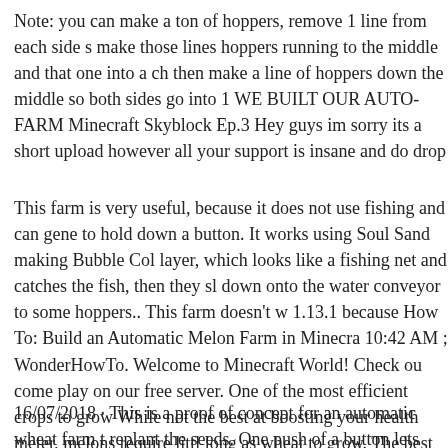Note: you can make a ton of hoppers, remove 1 line from each side s make those lines hoppers running to the middle and that one into a ch then make a line of hoppers down the middle so both sides go into 1 WE BUILT OUR AUTO-FARM Minecraft Skyblock Ep.3 Hey guys im sorry its a short upload however all your support is insane and do drop
This farm is very useful, because it does not use fishing and can gene to hold down a button. It works using Soul Sand making Bubble Col layer, which looks like a fishing net and catches the fish, then they sl down onto the water conveyor to some hoppers.. This farm doesn't w 1.13.1 because How To: Build an Automatic Melon Farm in Minecra 10:42 AM ; WonderHowTo. Welcome to Minecraft World! Check ou come play on our free server. One of the most efficient crops to grow While not the best at boosting your health meter, melons require littl long as wheat to grow. The best thing
16/07/2018 · This is a proof of concept for an automatic wheat farm t replant the seeds. One push of a button lets you collect your wheat or